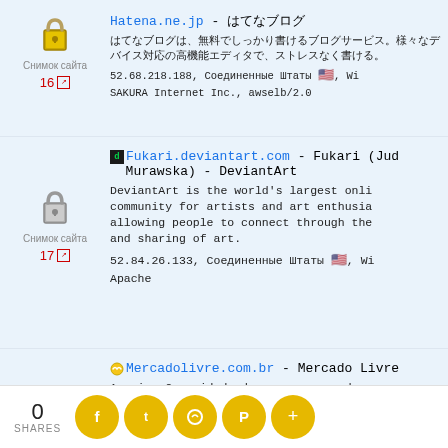Hatena.ne.jp - [Japanese text] | 52.68.218.188, Соединенные Штаты, SAKURA Internet Inc., awselb/2.0 | 16
Fukari.deviantart.com - Fukari (Jud Murawska) - DeviantArt | DeviantArt is the world's largest online community for artists and art enthusiasts, allowing people to connect through the creation and sharing of art. | 52.84.26.133, Соединенные Штаты, Wi... Apache | 17
Mercadolivre.com.br - Mercado Livre | A maior Comunidade de compra e venda o... América Latina. | 143.204.101.42, Соединенные Штаты, W... Tengine | 18
0 SHARES